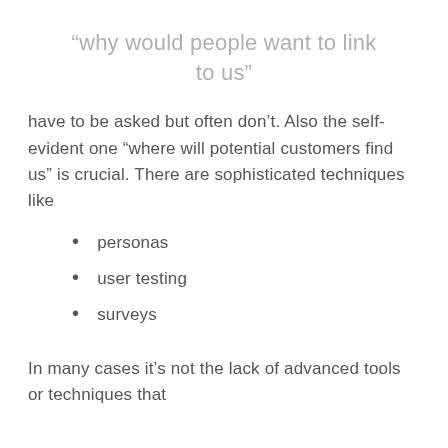“why would people want to link to us”
have to be asked but often don’t. Also the self-evident one “where will potential customers find us” is crucial. There are sophisticated techniques like
personas
user testing
surveys
In many cases it’s not the lack of advanced tools or techniques that